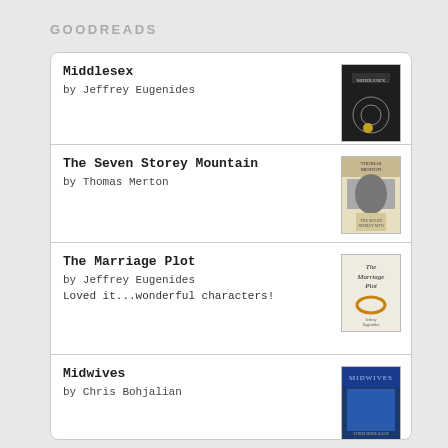GOODREADS
Middlesex by Jeffrey Eugenides
The Seven Storey Mountain by Thomas Merton
The Marriage Plot by Jeffrey Eugenides
Loved it...wonderful characters!
Midwives by Chris Bohjalian
Fall on Your Knees by Ann-Marie MacDonald